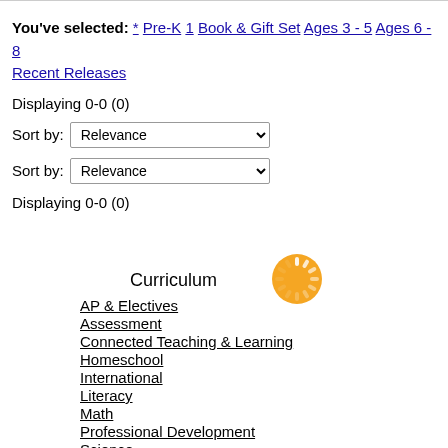You've selected: * Pre-K 1 Book & Gift Set Ages 3 - 5 Ages 6 - 8 Recent Releases
Displaying 0-0 (0)
Sort by: Relevance
Sort by: Relevance
Displaying 0-0 (0)
[Figure (other): Orange loading spinner icon]
Curriculum
AP & Electives
Assessment
Connected Teaching & Learning
Homeschool
International
Literacy
Math
Professional Development
Science